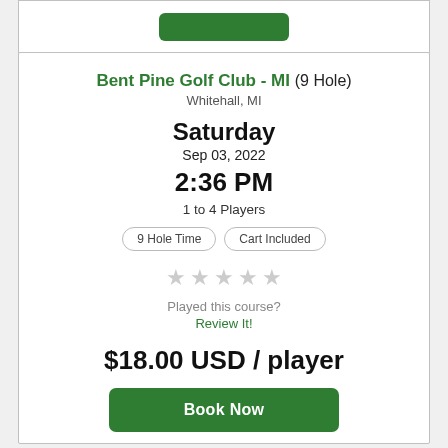Bent Pine Golf Club - MI (9 Hole)
Whitehall, MI
Saturday
Sep 03, 2022
2:36 PM
1 to 4 Players
9 Hole Time  |  Cart Included
Played this course?
Review It!
$18.00 USD / player
Book Now